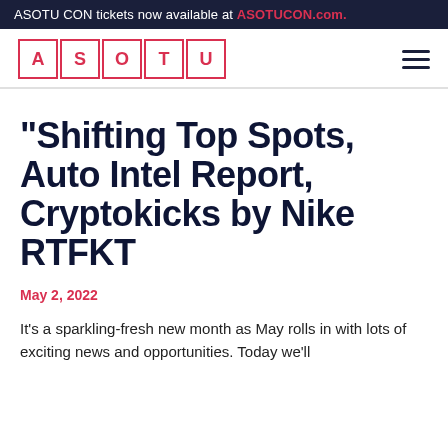ASOTU CON tickets now available at ASOTUCON.com.
[Figure (logo): ASOTU logo: four letters A S O T U each in a bordered box, red color]
“Shifting Top Spots, Auto Intel Report, Cryptokicks by Nike RTFKT
May 2, 2022
It’s a sparkling-fresh new month as May rolls in with lots of exciting news and opportunities. Today we’ll